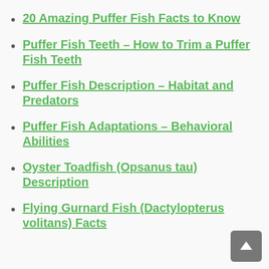20 Amazing Puffer Fish Facts to Know
Puffer Fish Teeth – How to Trim a Puffer Fish Teeth
Puffer Fish Description – Habitat and Predators
Puffer Fish Adaptations – Behavioral Abilities
Oyster Toadfish (Opsanus tau) Description
Flying Gurnard Fish (Dactylopterus volitans) Facts